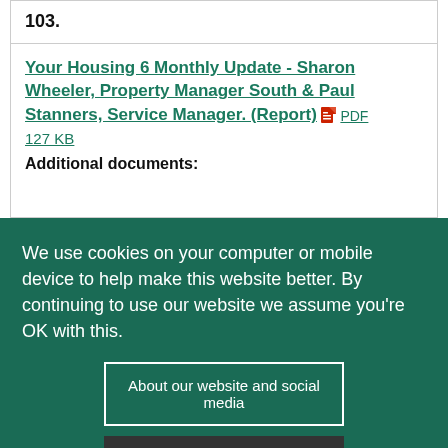103.
Your Housing 6 Monthly Update - Sharon Wheeler, Property Manager South & Paul Stanners, Service Manager. (Report) PDF 127 KB
Additional documents:
We use cookies on your computer or mobile device to help make this website better. By continuing to use our website we assume you're OK with this.
About our website and social media
✕ Hide this message